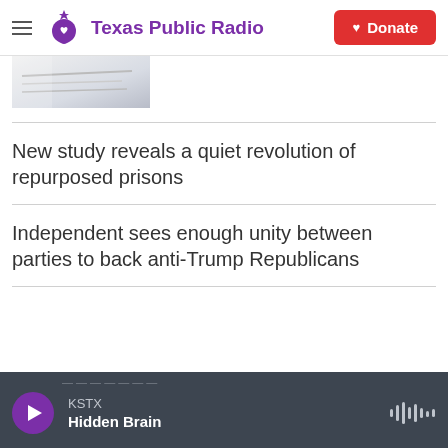Texas Public Radio
[Figure (photo): Partial image of papers or documents, cropped at top of content area]
New study reveals a quiet revolution of repurposed prisons
Independent sees enough unity between parties to back anti-Trump Republicans
KSTX  Hidden Brain